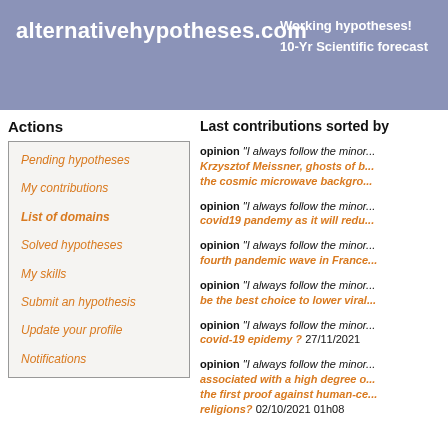alternativehypotheses.com | Working hypotheses! | 10-Yr Scientific forecast
Actions
Pending hypotheses
My contributions
List of domains
Solved hypotheses
My skills
Submit an hypothesis
Update your profile
Notifications
Last contributions sorted by
opinion "I always follow the minor... Krzysztof Meissner, ghosts of b... the cosmic microwave backgro...
opinion "I always follow the minor... covid19 pandemy as it will redu...
opinion "I always follow the minor... fourth pandemic wave in France...
opinion "I always follow the minor... be the best choice to lower viral...
opinion "I always follow the minor... covid-19 epidemy ? 27/11/2021
opinion "I always follow the minor... associated with a high degree o... the first proof against human-ce... religions? 02/10/2021 01h08